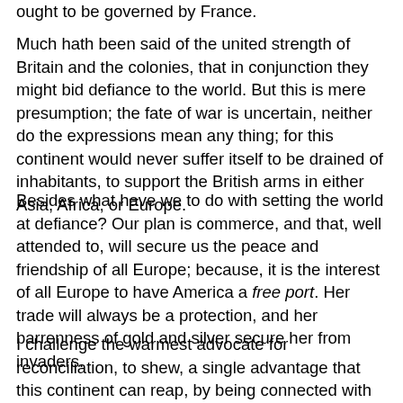ought to be governed by France.
Much hath been said of the united strength of Britain and the colonies, that in conjunction they might bid defiance to the world. But this is mere presumption; the fate of war is uncertain, neither do the expressions mean any thing; for this continent would never suffer itself to be drained of inhabitants, to support the British arms in either Asia, Africa, or Europe.
Besides what have we to do with setting the world at defiance? Our plan is commerce, and that, well attended to, will secure us the peace and friendship of all Europe; because, it is the interest of all Europe to have America a free port. Her trade will always be a protection, and her barrenness of gold and silver secure her from invaders.
I challenge the warmest advocate for reconciliation, to shew, a single advantage that this continent can reap, by being connected with Great Britain. I repeat the challenge, not a single advantage is derived. Our corn will fetch its